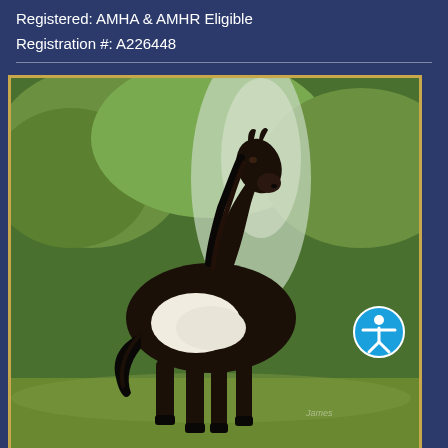Registered: AMHA & AMHR Eligible
Registration #: A226448
[Figure (photo): A black and white pinto miniature horse standing in a grassy field with green trees in the background. The horse has a striking black coat with a large white patch on its side. A circular blue accessibility icon button is overlaid in the lower right corner of the image.]